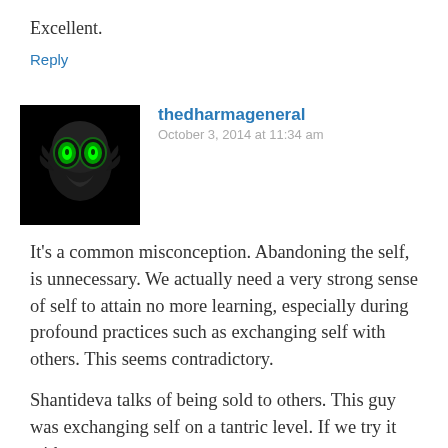Excellent.
Reply
[Figure (photo): Dark avatar image of a skull/bird creature with glowing green eyes on a black background]
thedharmageneral
October 3, 2014 at 11:34 am
It's a common misconception. Abandoning the self, is unnecessary. We actually need a very strong sense of self to attain no more learning, especially during profound practices such as exchanging self with others. This seems contradictory.
Shantideva talks of being sold to others. This guy was exchanging self on a tantric level. If we try it without proper